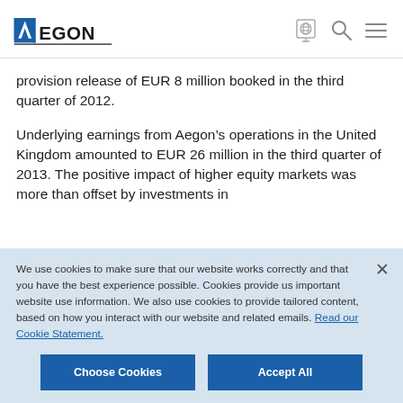AEGON
provision release of EUR 8 million booked in the third quarter of 2012.
Underlying earnings from Aegon’s operations in the United Kingdom amounted to EUR 26 million in the third quarter of 2013. The positive impact of higher equity markets was more than offset by investments in
We use cookies to make sure that our website works correctly and that you have the best experience possible. Cookies provide us important website use information. We also use cookies to provide tailored content, based on how you interact with our website and related emails. Read our Cookie Statement.